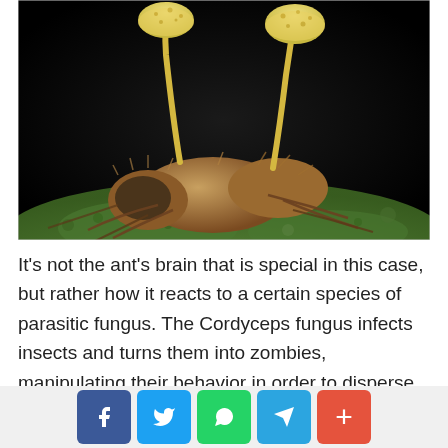[Figure (photo): Macro close-up photograph of a dead ant infected by Cordyceps fungus, lying on a green mossy surface against a black background. Two yellow mushroom fruiting bodies (sporocarps) grow upward from the ant's body.]
It's not the ant's brain that is special in this case, but rather how it reacts to a certain species of parasitic fungus. The Cordyceps fungus infects insects and turns them into zombies, manipulating their behavior in order to disperse their spores and multiply. Like something out of a nightmare, Cordyceps feeds on